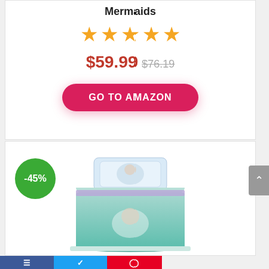Mermaids
[Figure (other): 5 orange star rating icons in a row]
$59.99 $76.19
GO TO AMAZON
-45%
[Figure (photo): Disney Little Mermaid Make A Splash bedding set on a bed, teal/aqua colored comforter with character illustrations, with pillow]
Disney Little Mermaid Make A Splash 7 Piece